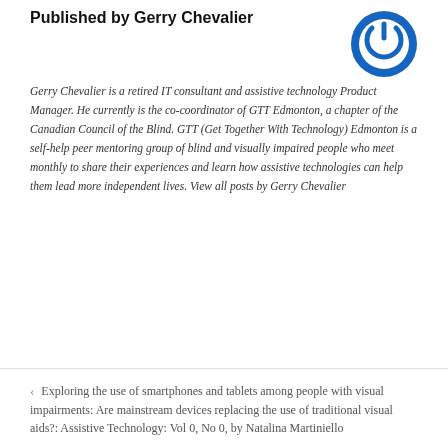Published by Gerry Chevalier
[Figure (logo): Blue circular power button logo icon]
Gerry Chevalier is a retired IT consultant and assistive technology Product Manager. He currently is the co-coordinator of GTT Edmonton, a chapter of the Canadian Council of the Blind. GTT (Get Together With Technology) Edmonton is a self-help peer mentoring group of blind and visually impaired people who meet monthly to share their experiences and learn how assistive technologies can help them lead more independent lives. View all posts by Gerry Chevalier
< Exploring the use of smartphones and tablets among people with visual impairments: Are mainstream devices replacing the use of traditional visual aids?: Assistive Technology: Vol 0, No 0, by Natalina Martiniello